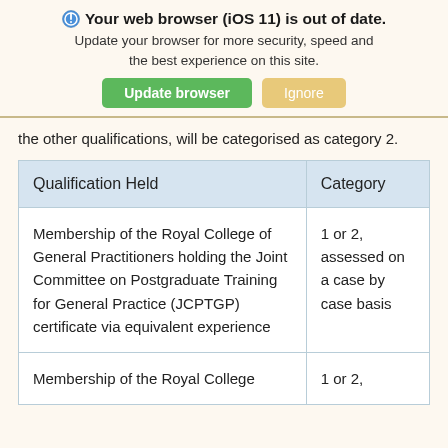[Figure (screenshot): Browser update warning banner showing 'Your web browser (iOS 11) is out of date. Update your browser for more security, speed and the best experience on this site.' with green 'Update browser' and tan 'Ignore' buttons.]
the other qualifications, will be categorised as category 2.
| Qualification Held | Category |
| --- | --- |
| Membership of the Royal College of General Practitioners holding the Joint Committee on Postgraduate Training for General Practice (JCPTGP) certificate via equivalent experience | 1 or 2, assessed on a case by case basis |
| Membership of the Royal College | 1 or 2, |